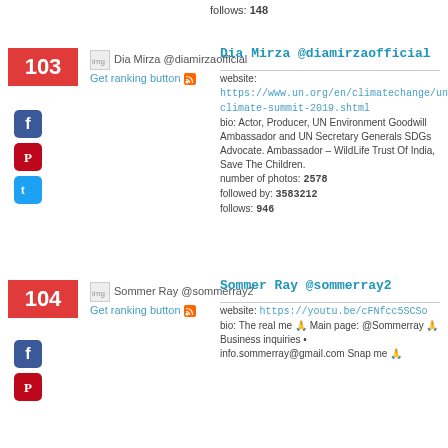follows: 148
103
Dia Mirza @diamirzaofficial
Get ranking button
Dia Mirza @diamirzaofficial
website: https://www.un.org/en/climatechange/un-climate-summit-2019.shtml
bio: Actor, Producer, UN Environment Goodwill Ambassador and UN Secretary Generals SDGs Advocate. Ambassador – WildLife Trust Of India, Save The Children.
number of photos: 2578
followed by: 3583212
follows: 946
104
Sommer Ray @sommerray2
Get ranking button
Sommer Ray @sommerray2
website: https://youtu.be/cFNfcc5SCSo
bio: The real me 🙏 Main page: @Sommerray 🙏 Business inquiries • info.sommerray@gmail.com Snap me 🙏